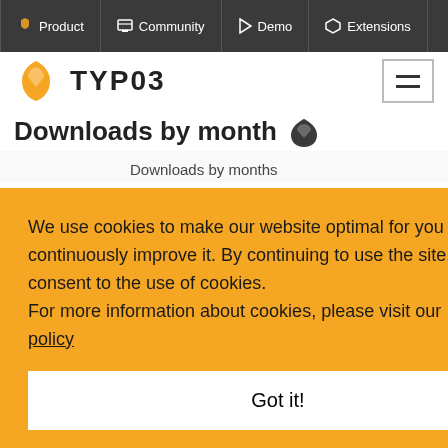Product | Community | Demo | Extensions
TYPO3
Downloads by month
Downloads by months
We use cookies to make our website optimal for you and to continuously improve it. By continuing to use the site, you consent to the use of cookies.
For more information about cookies, please visit our privacy policy
Got it!
[Figure (bar-chart): Partial bar chart showing 'Downloads by months' with bars visible on the right side, values 238, 166, 65 partially visible]